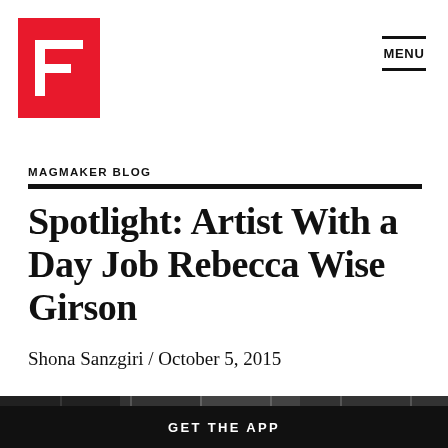[Figure (logo): Flipboard logo: red square with white stylized F letter]
MENU
MAGMAKER BLOG
Spotlight: Artist With a Day Job Rebecca Wise Girson
Shona Sanzgiri / October 5, 2015
[Figure (photo): Grayscale photo of a brick wall, cropped to a horizontal strip at the bottom of the page]
GET THE APP